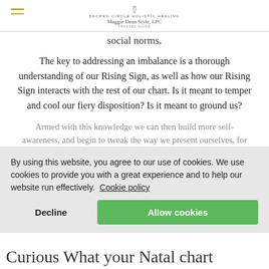SACRED CIRCLE HOLISTIC HEALING — Maggie Dean Style, LPC
social norms.
The key to addressing an imbalance is a thorough understanding of our Rising Sign, as well as how our Rising Sign interacts with the rest of our chart. Is it meant to temper and cool our fiery disposition? Is it meant to ground us?
Armed with this knowledge we can then build more self- … to weak … benefit of … health.
What is your Rising Sign?
Do you think you might be under or over-expressing it?
[Figure (other): Cookie consent banner with 'By using this website, you agree to our use of cookies. We use cookies to provide you with a great experience and to help our website run effectively. Cookie policy' text and Decline / Allow cookies buttons.]
Curious What your Natal chart